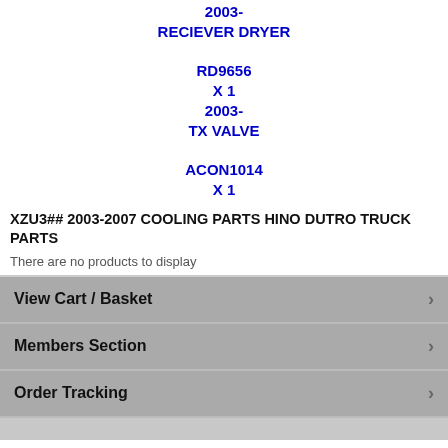2003-
RECIEVER DRYER
RD9656
X 1
2003-
TX VALVE
ACON1014
X 1
XZU3## 2003-2007 COOLING PARTS HINO DUTRO TRUCK PARTS
There are no products to display
View Cart / Basket
Members Section
Order Tracking
Help General info   HomePage   Contact Us   Delivery Methods   Feedback   Payment Methods   Price Match   Returns & Credits